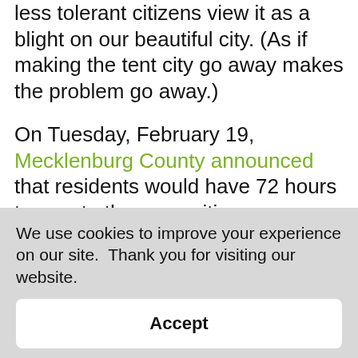less tolerant citizens view it as a blight on our beautiful city. (As if making the tent city go away makes the problem go away.)
On Tuesday, February 19, Mecklenburg County announced that residents would have 72 hours to vacate the area, citing a burgeoning rat problem, but would be offered 90 days of temporary housing.
Law enforcement, city officials and the nonprofit community all noted that they were surprised at the sudden decision. By the end of the week, the finger-pointing was rampant, with the county manager complaining about the city...
We use cookies to improve your experience on our site.  Thank you for visiting our website.
Accept